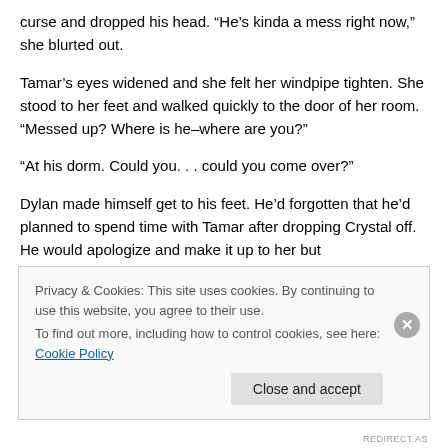curse and dropped his head. “He’s kinda a mess right now,” she blurted out.
Tamar’s eyes widened and she felt her windpipe tighten. She stood to her feet and walked quickly to the door of her room. “Messed up? Where is he–where are you?”
“At his dorm. Could you. . . could you come over?”
Dylan made himself get to his feet. He’d forgotten that he’d planned to spend time with Tamar after dropping Crystal off. He would apologize and make it up to her but
Privacy & Cookies: This site uses cookies. By continuing to use this website, you agree to their use.
To find out more, including how to control cookies, see here: Cookie Policy
REDIRECT.AS